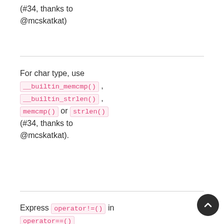(#34, thanks to @mcskatkat)
For char type, use __builtin_memcmp() , __builtin_strlen() , memcmp() or strlen() (#34, thanks to @mcskatkat).
Express operator!=() in operator==()
Add IDE folders/files and